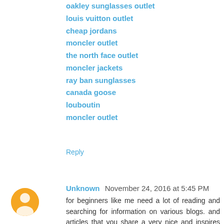oakley sunglasses outlet
louis vuitton outlet
cheap jordans
moncler outlet
the north face outlet
moncler jackets
ray ban sunglasses
canada goose
louboutin
moncler outlet
Reply
Unknown  November 24, 2016 at 5:45 PM
for beginners like me need a lot of reading and searching for information on various blogs. and articles that you share a very nice and inspires me .
cara menggugurkan kandungan
obat aborsi
kalkulator kehamilan
Reply